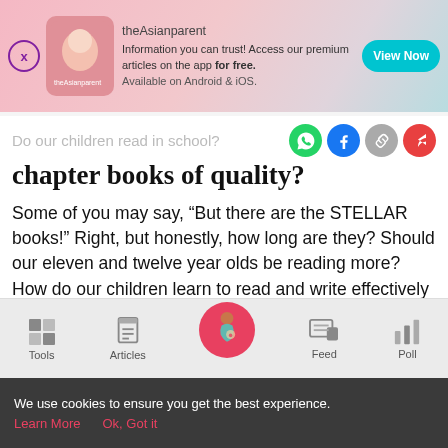[Figure (screenshot): theAsianparent app advertisement banner with close button, logo, text about accessing premium articles for free on the app, and a teal View Now button]
Do our children read in school?
chapter books of quality?
Some of you may say, “But there are the STELLAR books!” Right, but honestly, how long are they? Should our eleven and twelve year olds be reading more? How do our children learn to read and write effectively without reading any chapter books of quality?
[Figure (infographic): Bottom navigation bar with Tools, Articles, home/feed center button, Feed, and Poll icons]
We use cookies to ensure you get the best experience. Learn More  Ok, Got it